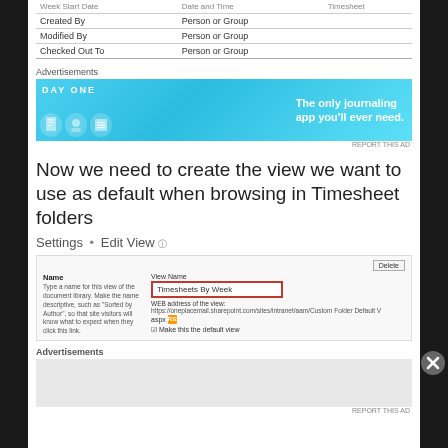| Week Start Date | Date and Time | Timesheet |
| --- | --- | --- |
| Created By | Person or Group |  |
| Modified By | Person or Group |  |
| Checked Out To | Person or Group |  |
Advertisements
[Figure (screenshot): Day One app advertisement banner: 'The only journaling app you'll ever need.']
REPORT THIS AD
Now we need to create the view we want to use as default when browsing in Timesheet folders
Settings • Edit View ⓘ
[Figure (screenshot): SharePoint Edit View settings screenshot showing Name field with 'Timesheets By Week' entered, Delete button, View Name label, WEB address of the view URL, aspx field with RSS icon, and 'Make this the default view' checkbox]
Advertisements
[Figure (screenshot): Empty advertisement placeholder area]